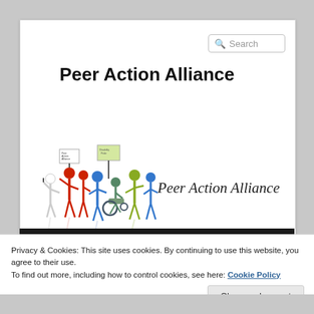Peer Action Alliance
[Figure (illustration): Website screenshot showing Peer Action Alliance banner with illustrated figures of diverse people including someone in a wheelchair holding signs, alongside italic text 'Peer Action Alliance']
Privacy & Cookies: This site uses cookies. By continuing to use this website, you agree to their use.
To find out more, including how to control cookies, see here: Cookie Policy